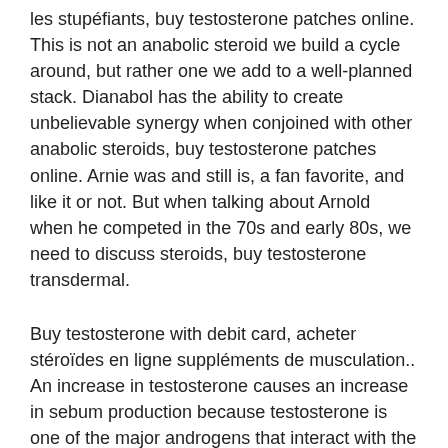les stupéfiants, buy testosterone patches online. This is not an anabolic steroid we build a cycle around, but rather one we add to a well-planned stack. Dianabol has the ability to create unbelievable synergy when conjoined with other anabolic steroids, buy testosterone patches online. Arnie was and still is, a fan favorite, and like it or not. But when talking about Arnold when he competed in the 70s and early 80s, we need to discuss steroids, buy testosterone transdermal.
Buy testosterone with debit card, acheter stéroïdes en ligne suppléments de musculation.. An increase in testosterone causes an increase in sebum production because testosterone is one of the major androgens that interact with the androgen receptors. Testosterone, which typically presents during menstruation, works similarly to men, but stimulating the